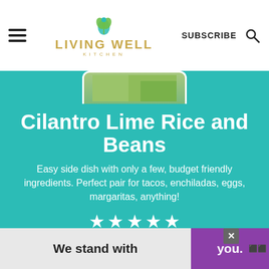LIVING WELL KITCHEN  |  SUBSCRIBE
[Figure (screenshot): Partial food photo thumbnail at top of teal recipe card]
Cilantro Lime Rice and Beans
Easy side dish with only a few, budget friendly ingredients. Perfect pair for tacos, enchiladas, eggs, margaritas, anything!
5 from 1 vote
Print   Rate
Prep Time: 10 minutes
Cook Time: 40 minutes
We stand with you.